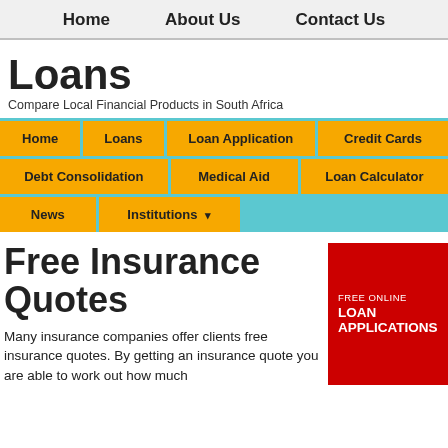Home   About Us   Contact Us
Loans
Compare Local Financial Products in South Africa
Home
Loans
Loan Application
Credit Cards
Debt Consolidation
Medical Aid
Loan Calculator
News
Institutions ▾
Free Insurance Quotes
[Figure (infographic): Red banner with text FREE ONLINE LOAN APPLICATIONS]
Many insurance companies offer clients free insurance quotes. By getting an insurance quote you are able to work out how much